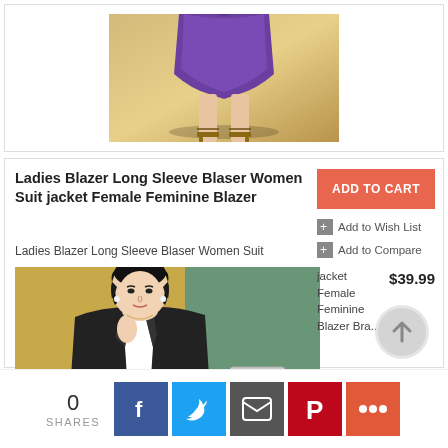[Figure (photo): Partial view of a woman in a purple skirt and high heels, cropped at waist level, standing on a golden/tan surface]
Ladies Blazer Long Sleeve Blaser Women Suit jacket Female Feminine Blazer
Ladies Blazer Long Sleeve Blaser Women Suit
[Figure (photo): Asian woman in a black blazer with red trim detail, posing with hand near face, green and golden background]
ADD TO CART
Add to Wish List
Add to Compare
jacket Female Feminine Blazer Bra..  $39.99
[Figure (other): Scroll-to-top circle arrow icon in gray]
0 SHARES
[Figure (infographic): Social share bar with Facebook, Twitter, Email, Pinterest, and More buttons]